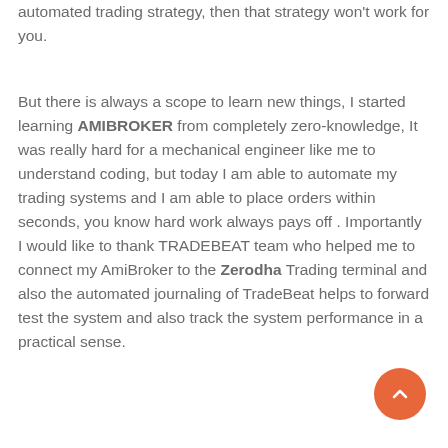automated trading strategy, then that strategy won't work for you.
But there is always a scope to learn new things, I started learning AMIBROKER from completely zero-knowledge, It was really hard for a mechanical engineer like me to understand coding, but today I am able to automate my trading systems and I am able to place orders within seconds, you know hard work always pays off . Importantly I would like to thank TRADEBEAT team who helped me to connect my AmiBroker to the Zerodha Trading terminal and also the automated journaling of TradeBeat helps to forward test the system and also track the system performance in a practical sense.